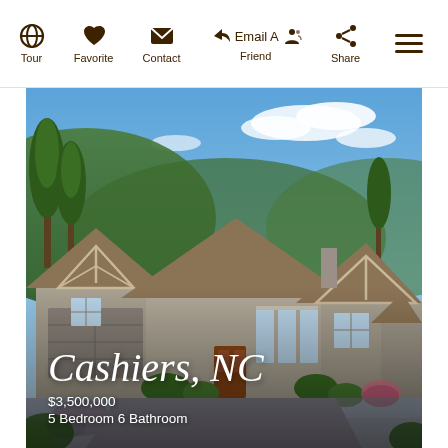Tour | Favorite | Contact | Email A Friend | Share
[Figure (photo): Exterior photo of a large craftsman-style mountain home in Cashiers, NC with a gravel driveway, multiple gabled rooflines with decorative trusses, board-and-batten siding, a two-car garage, and lush green trees and mountains in the background under a blue sky with clouds.]
Cashiers, NC
$3,500,000
5 Bedroom 6 Bathroom